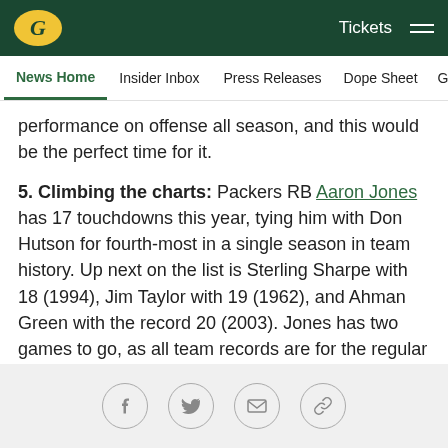Green Bay Packers — Tickets  ☰
News Home  Insider Inbox  Press Releases  Dope Sheet  Game
performance on offense all season, and this would be the perfect time for it.
5. Climbing the charts: Packers RB Aaron Jones has 17 touchdowns this year, tying him with Don Hutson for fourth-most in a single season in team history. Up next on the list is Sterling Sharpe with 18 (1994), Jim Taylor with 19 (1962), and Ahman Green with the record 20 (2003). Jones has two games to go, as all team records are for the regular season only.
Social share icons: Facebook, Twitter, Email, Link